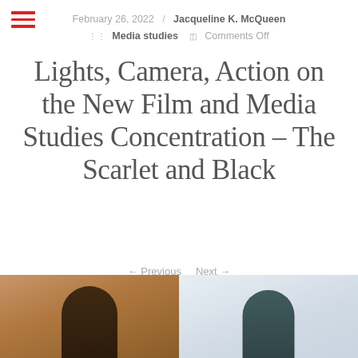February 26, 2022 / Jacqueline K. McQueen :: Media studies  Comments Off
Lights, Camera, Action on the New Film and Media Studies Concentration – The Scarlet and Black
← Previous   Next →
[Figure (photo): Two-panel photo strip showing two people; left panel has warm brown background, right panel has light grey/blue background]